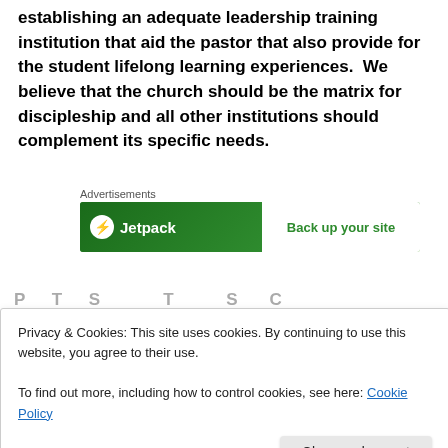establishing an adequate leadership training institution that aid the pastor that also provide for the student lifelong learning experiences.  We believe that the church should be the matrix for discipleship and all other institutions should complement its specific needs.
[Figure (screenshot): Jetpack advertisement banner showing 'Back up your site' call to action on green background]
Privacy & Cookies: This site uses cookies. By continuing to use this website, you agree to their use.
To find out more, including how to control cookies, see here: Cookie Policy
Close and accept
Definition of Leadership Development...